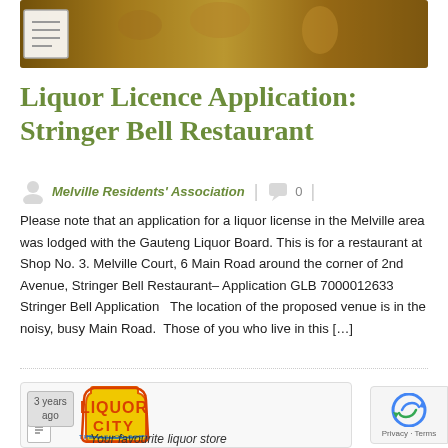[Figure (photo): Banner image showing alcoholic drinks on a bar surface with warm amber/golden tones]
Liquor Licence Application: Stringer Bell Restaurant
Melville Residents' Association | 0
Please note that an application for a liquor license in the Melville area was lodged with the Gauteng Liquor Board. This is for a restaurant at Shop No. 3. Melville Court, 6 Main Road around the corner of 2nd Avenue, Stringer Bell Restaurant– Application GLB 7000012633 Stringer Bell Application   The location of the proposed venue is in the noisy, busy Main Road.  Those of you who live in this […]
[Figure (logo): Liquor City logo — yellow bottle shape with red text 'LIQUOR CITY' and tagline 'THE LIQUOR BOYS' in blue, shown on a card with '3 years ago' label]